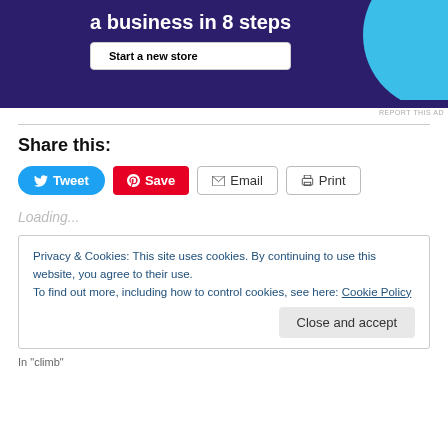[Figure (screenshot): Advertisement banner with dark purple background, white bold text 'a business in 8 steps', a 'Start a new store' button, and a light blue circle graphic on the right.]
REPORT THIS AD
Share this:
Tweet  Save  Email  Print
Loading...
Privacy & Cookies: This site uses cookies. By continuing to use this website, you agree to their use.
To find out more, including how to control cookies, see here: Cookie Policy
Close and accept
In "climb"